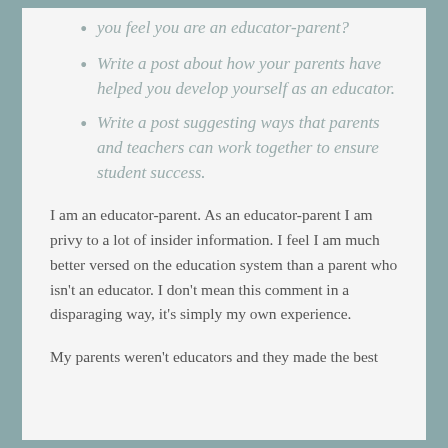you feel you are an educator-parent?
Write a post about how your parents have helped you develop yourself as an educator.
Write a post suggesting ways that parents and teachers can work together to ensure student success.
I am an educator-parent. As an educator-parent I am privy to a lot of insider information. I feel I am much better versed on the education system than a parent who isn't an educator. I don't mean this comment in a disparaging way, it's simply my own experience.
My parents weren't educators and they made the best